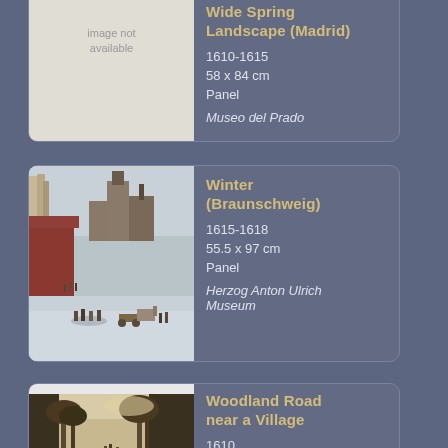[Figure (other): Artwork card: Wide Spring Landscape (Madrid), image not available placeholder, 1610-1615, 58 x 84 cm, Panel, Museo del Prado]
[Figure (other): Artwork card: Winter (Braunschweig), winter village scene painting, 1615-1618, 55.5 x 97 cm, Panel, Herzog Anton Ulrich Museum]
[Figure (other): Artwork card: Woodland Road near a Village, forest road painting, 1610, 37 x 58 cm]